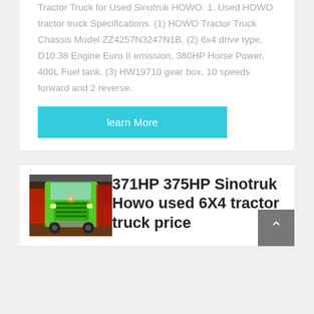Tractor Truck for Used Sinotruk HOWO. 1. Used HOWO tractor truck Specifications. (1) HOWO Tractor Truck Chassis Model ZZ4257N3247N1B. (2) 6x4 drive type, D10.38 Engine Euro II emission, 380HP Horse Power, 400L Fuel tank. (3) HW19710 gear box, 10 speeds forward and 2 reverse.
learn More
[Figure (photo): Front view of a green Sinotruk HOWO tractor truck parked indoors]
371HP 375HP Sinotruk Howo used 6X4 tractor truck price